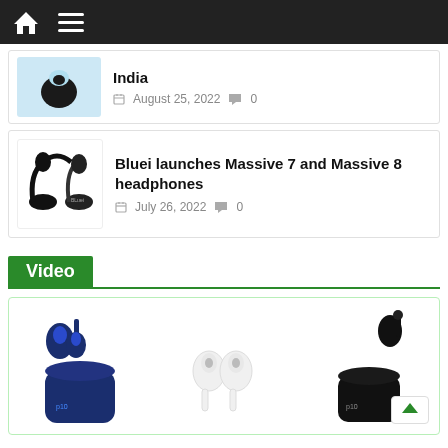Navigation bar with home and menu icons
India
August 25, 2022  0
Bluei launches Massive 7 and Massive 8 headphones
July 26, 2022  0
Video
[Figure (photo): Three sets of TWS earbuds/earphones in blue, white, and black colorways displayed in their charging cases]